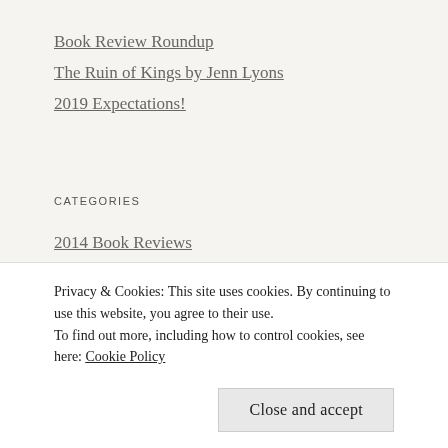Book Review Roundup
The Ruin of Kings by Jenn Lyons
2019 Expectations!
CATEGORIES
2014 Book Reviews
2015 Book Reviews
2016 Book Reviews
2017 Book Reviews
Privacy & Cookies: This site uses cookies. By continuing to use this website, you agree to their use.
To find out more, including how to control cookies, see here: Cookie Policy
Close and accept